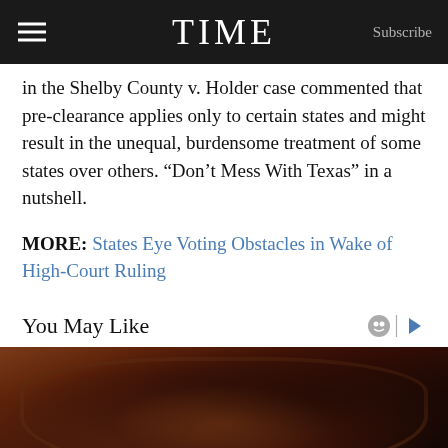TIME | Subscribe
in the Shelby County v. Holder case commented that pre-clearance applies only to certain states and might result in the unequal, burdensome treatment of some states over others. “Don’t Mess With Texas” in a nutshell.
MORE: States Eye Voting Obstacles in Wake of High-Court Ruling
You May Like
[Figure (photo): Close-up photo of what appears to be a dark, rusty or charred object, possibly food being cooked in a cast iron or similar vessel]